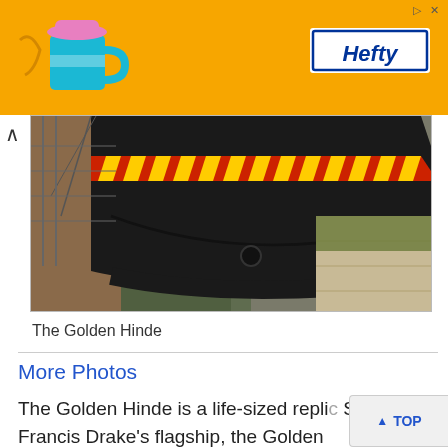[Figure (photo): Advertisement banner with orange background featuring a mug product and Hefty logo]
[Figure (photo): Black-hulled historic sailing ship (Golden Hinde replica) moored close to a stone quay, with red and yellow decorative stripe along the hull]
The Golden Hinde
More Photos
The Golden Hinde is a life-sized repli Sir Francis Drake's flagship, the Golden